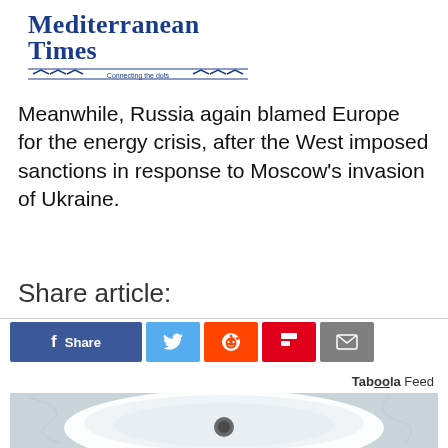Mediterranean Times — Connecting the dots
Meanwhile, Russia again blamed Europe for the energy crisis, after the West imposed sanctions in response to Moscow's invasion of Ukraine.
Share article:
[Figure (screenshot): Social share buttons: Facebook Share, Twitter, Reddit, Flipboard, Email]
Taboola Feed
[Figure (photo): Close-up photo of a white ceramic sink or bowl with a coin or drain plug in the center, set against a marble-like surface]